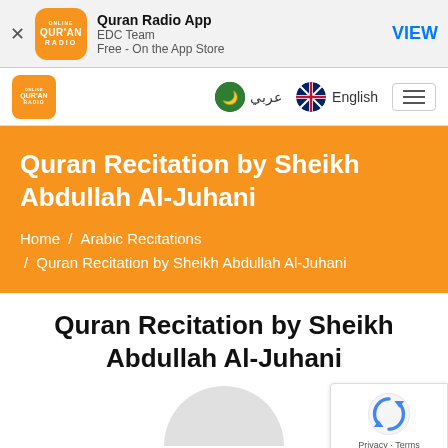[Figure (screenshot): App Store banner for Quran Radio App by EDC Team, Free on the App Store, with VIEW button]
[Figure (screenshot): Website navigation bar with Quran Radio logo, Arabic language link, English language link, and hamburger menu]
Quran Recitation by Sheikh Abdullah Al-Juhani
Home / Arabic Recitations / Quran Recitation by Sheikh Abdullah Al-Juhani
Quran Recitation by Sheikh Abdullah Al-Juhani